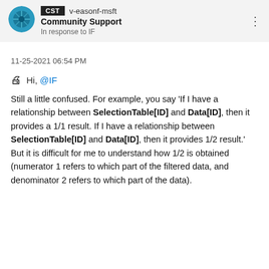CST  v-easonf-msft
Community Support
In response to IF
11-25-2021 06:54 PM
Hi, @IF
Still a little confused. For example, you say 'If I have a relationship between SelectionTable[ID] and Data[ID], then it provides a 1/1 result. If I have a relationship between SelectionTable[ID] and Data[ID], then it provides 1/2 result.'  But it is difficult for me to understand how 1/2 is obtained (numerator 1 refers to which part of the filtered data, and denominator 2 refers to which part of the data).